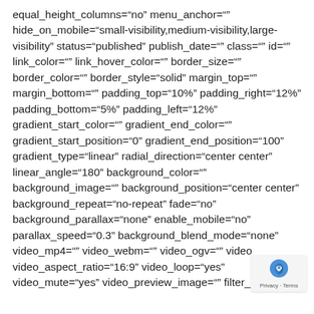equal_height_columns="no" menu_anchor="" hide_on_mobile="small-visibility,medium-visibility,large-visibility" status="published" publish_date="" class="" id="" link_color="" link_hover_color="" border_size="" border_color="" border_style="solid" margin_top="" margin_bottom="" padding_top="10%" padding_right="12%" padding_bottom="5%" padding_left="12%" gradient_start_color="" gradient_end_color="" gradient_start_position="0" gradient_end_position="100" gradient_type="linear" radial_direction="center center" linear_angle="180" background_color="" background_image="" background_position="center center" background_repeat="no-repeat" fade="no" background_parallax="none" enable_mobile="no" parallax_speed="0.3" background_blend_mode="none" video_mp4="" video_webm="" video_ogv="" video video_aspect_ratio="16:9" video_loop="yes" video_mute="yes" video_preview_image="" filter_hue="0"